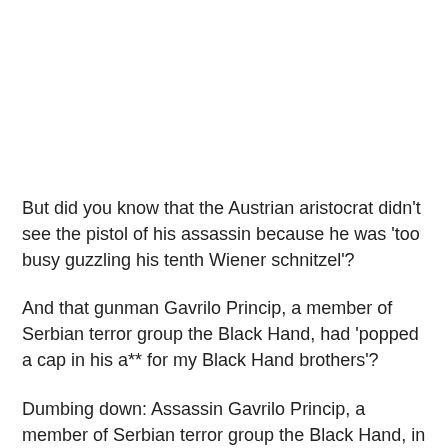But did you know that the Austrian aristocrat didn't see the pistol of his assassin because he was 'too busy guzzling his tenth Wiener schnitzel'?
And that gunman Gavrilo Princip, a member of Serbian terror group the Black Hand, had 'popped a cap in his a** for my Black Hand brothers'?
Dumbing down: Assassin Gavrilo Princip, a member of Serbian terror group the Black Hand, in the video